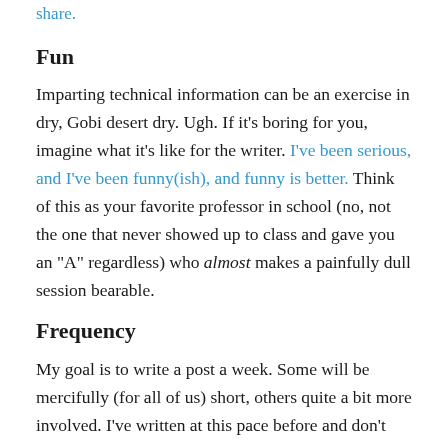share.
Fun
Imparting technical information can be an exercise in dry, Gobi desert dry. Ugh. If it's boring for you, imagine what it's like for the writer. I've been serious, and I've been funny(ish), and funny is better. Think of this as your favorite professor in school (no, not the one that never showed up to class and gave you an “A” regardless) who almost makes a painfully dull session bearable.
Frequency
My goal is to write a post a week. Some will be mercifully (for all of us) short, others quite a bit more involved. I’ve written at this pace before and don’t see